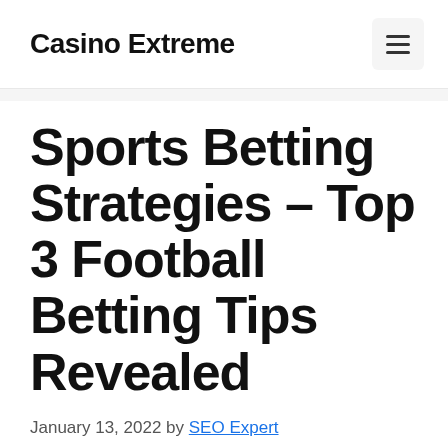Casino Extreme
Sports Betting Strategies – Top 3 Football Betting Tips Revealed
January 13, 2022 by SEO Expert
Is gambling with an online casino genuine?